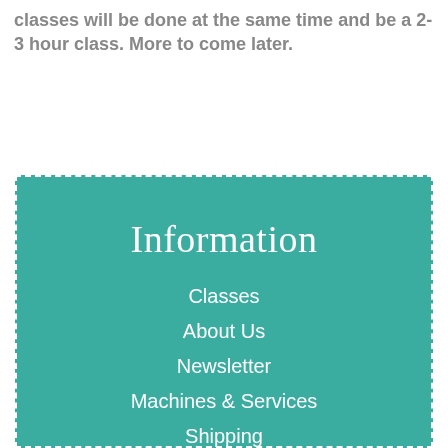classes will be done at the same time and be a 2-3 hour class. More to come later.
Information
Classes
About Us
Newsletter
Machines & Services
Shipping
Categories
Fabrics
Books